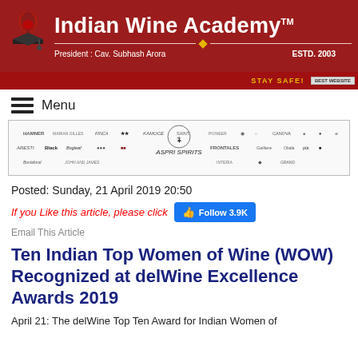Indian Wine Academy TM — President: Cav. Subhash Arora — ESTD. 2003
STAY SAFE!  BEST WEBSITE
Menu
[Figure (logo): Aspri Spirits sponsor banner with multiple wine brand logos]
Posted: Sunday, 21 April 2019 20:50
If you Like this article, please click  Follow 3.9K
Email This Article
Ten Indian Top Women of Wine (WOW) Recognized at delWine Excellence Awards 2019
April 21: The delWine Top Ten Award for Indian Women of